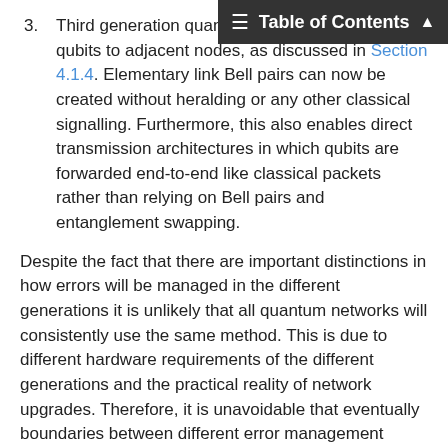3. Third generation quantum networks distribute QEC encoded qubits to adjacent nodes, as discussed in Section 4.1.4. Elementary link Bell pairs can now be created without heralding or any other classical signalling. Furthermore, this also enables direct transmission architectures in which qubits are forwarded end-to-end like classical packets rather than relying on Bell pairs and entanglement swapping.
Despite the fact that there are important distinctions in how errors will be managed in the different generations it is unlikely that all quantum networks will consistently use the same method. This is due to different hardware requirements of the different generations and the practical reality of network upgrades. Therefore, it is unavoidable that eventually boundaries between different error management schemes start forming. This will affect the content and semantics of messages that must cross those boundaries -- both for connection setup and real-time operation [Nagayama16].